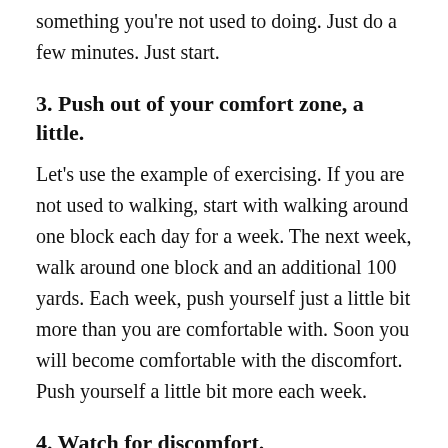something you're not used to doing. Just do a few minutes. Just start.
3. Push out of your comfort zone, a little.
Let's use the example of exercising. If you are not used to walking, start with walking around one block each day for a week. The next week, walk around one block and an additional 100 yards. Each week, push yourself just a little bit more than you are comfortable with. Soon you will become comfortable with the discomfort. Push yourself a little bit more each week.
4. Watch for discomfort.